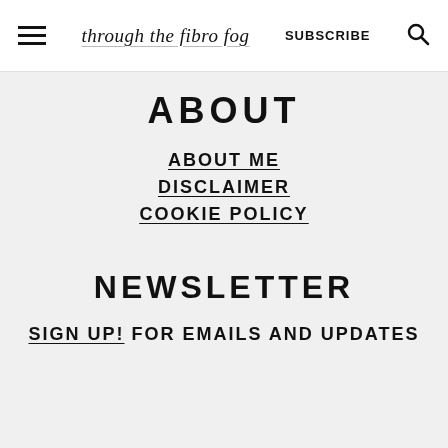through the fibro fog  SUBSCRIBE
ABOUT
ABOUT ME
DISCLAIMER
COOKIE POLICY
NEWSLETTER
SIGN UP! FOR EMAILS AND UPDATES